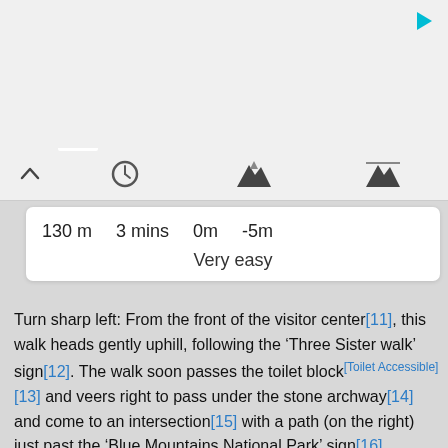[Figure (screenshot): App UI top bar area with gray background and cyan play/arrow icon in top right corner]
[Figure (screenshot): Tab bar with chevron-up icon on left, then clock icon, two mountain/elevation icons to the right]
130 m   3 mins   0m   -5m
Very easy
Turn sharp left: From the front of the visitor center[11], this walk heads gently uphill, following the ‘Three Sister walk’ sign[12]. The walk soon passes the toilet block[Toilet Accessible][13] and veers right to pass under the stone archway[14] and come to an intersection[15] with a path (on the right) just past the ‘Blue Mountains National Park’ sign[16].
Continue straight: From the intersection, this walk heads along the ‘Three Sisters walkway’[17] footpath, initially keeping the metal fence to the right. The smooth concrete path leads up and over a rise then leads gently downhill for